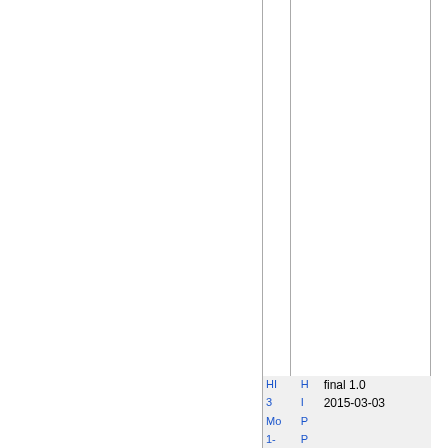|  |  |  |
| --- | --- | --- |
| HI | H | final 1.0 |
| 3 | I | 2015-03-03 |
| Mo | P |  |
| 1- | P |  |